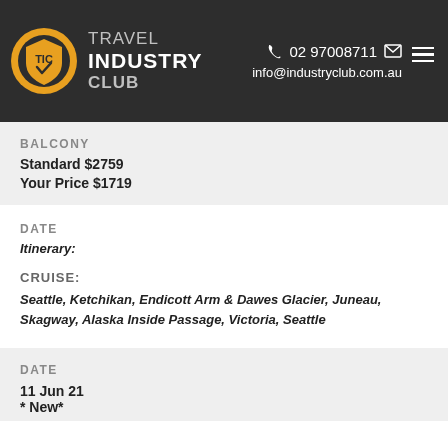TRAVEL INDUSTRY CLUB — 02 97008711 — info@industryclub.com.au
BALCONY
Standard $2759
Your Price $1719
DATE
Itinerary:
CRUISE:
Seattle, Ketchikan, Endicott Arm & Dawes Glacier, Juneau, Skagway, Alaska Inside Passage, Victoria, Seattle
DATE
11 Jun 21
* New*